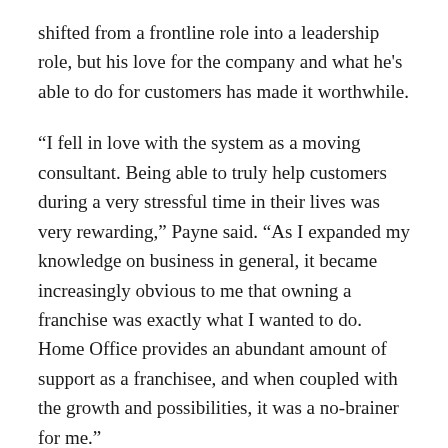shifted from a frontline role into a leadership role, but his love for the company and what he's able to do for customers has made it worthwhile.
“I fell in love with the system as a moving consultant. Being able to truly help customers during a very stressful time in their lives was very rewarding,” Payne said. “As I expanded my knowledge on business in general, it became increasingly obvious to me that owning a franchise was exactly what I wanted to do. Home Office provides an abundant amount of support as a franchisee, and when coupled with the growth and possibilities, it was a no-brainer for me.”
When Payne got started as franchisee of the Canton location, one of the main challenges he faced was teaching his business background to people at his